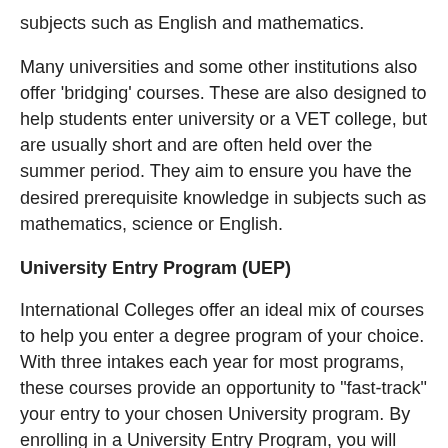subjects such as English and mathematics.
Many universities and some other institutions also offer 'bridging' courses. These are also designed to help students enter university or a VET college, but are usually short and are often held over the summer period. They aim to ensure you have the desired prerequisite knowledge in subjects such as mathematics, science or English.
University Entry Program (UEP)
International Colleges offer an ideal mix of courses to help you enter a degree program of your choice. With three intakes each year for most programs, these courses provide an opportunity to "fast-track" your entry to your chosen University program. By enrolling in a University Entry Program, you will have the advantage of smaller classes, dedicated facilities, English language and welfare support, highly qualified teaching staff and access to all University services and facilities.